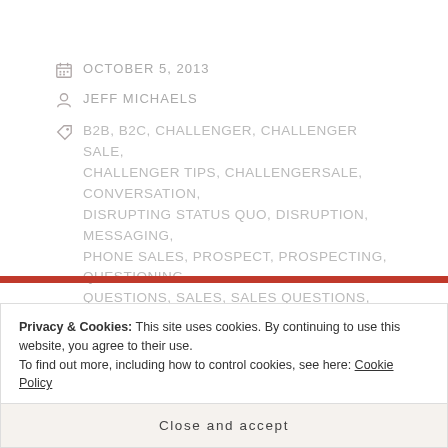OCTOBER 5, 2013
JEFF MICHAELS
B2B, B2C, CHALLENGER, CHALLENGER SALE, CHALLENGER TIPS, CHALLENGERSALE, CONVERSATION, DISRUPTING STATUS QUO, DISRUPTION, MESSAGING, PHONE SALES, PROSPECT, PROSPECTING, QUESTIONING, QUESTIONS, SALES, SALES QUESTIONS, SOLUTION, SOLUTION SALES, SOLUTION SELLING, STATUS QUO
4 COMMENTS
Privacy & Cookies: This site uses cookies. By continuing to use this website, you agree to their use. To find out more, including how to control cookies, see here: Cookie Policy
Close and accept